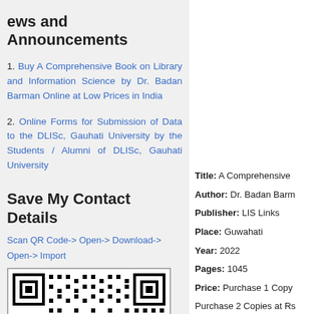ews and Announcements
1. Buy A Comprehensive Book on Library and Information Science by Dr. Badan Barman Online at Low Prices in India
2. Online Forms for Submission of Data to the DLISc, Gauhati University by the Students / Alumni of DLISc, Gauhati University
Save My Contact Details
Scan QR Code-> Open-> Download-> Open-> Import
[Figure (other): QR code for contact details]
Title: A Comprehensive
Author: Dr. Badan Barm
Publisher: LIS Links
Place: Guwahati
Year: 2022
Pages: 1045
Price: Purchase 1 Copy
Purchase 2 Copies at Rs
Purchase 3 Copies at Rs
Purchase 4 Copies at Rs
Purchase 5 Copies at R